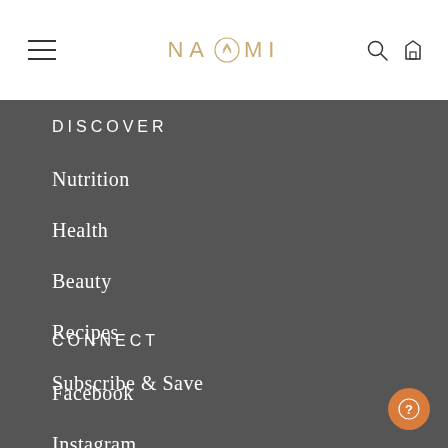NAOMI
DISCOVER
Nutrition
Health
Beauty
Recipes
Subscribe & Save
CONNECT
Facebook
Instagram